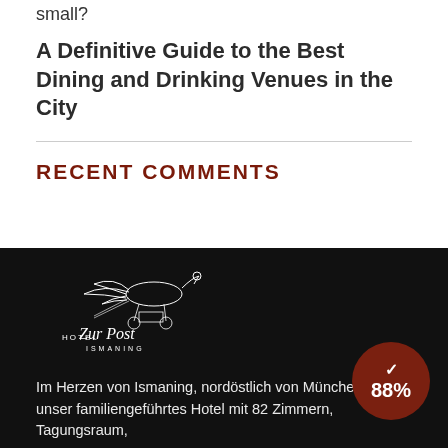small?
A Definitive Guide to the Best Dining and Drinking Venues in the City
RECENT COMMENTS
[Figure (logo): Hotel Zur Post Ismaning logo — white illustrated bird/horse-drawn carriage sketch with stylized script text 'Hotel Zur Post Ismaning' on a black background]
Im Herzen von Ismaning, nordöstlich von München, erw... unser familiengeführtes Hotel mit 82 Zimmern, Tagungsraum,